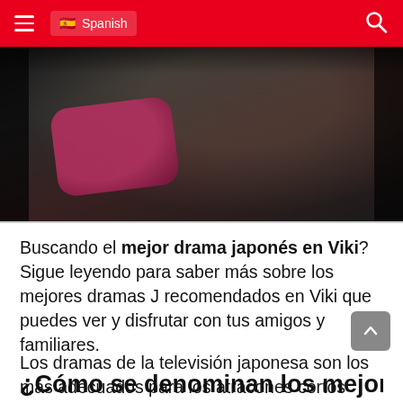≡  🇪🇸 Spanish  🔍
[Figure (photo): Dark scene photo showing a person holding a dark red/crimson pillow or cushion, dimly lit background]
Buscando el mejor drama japonés en Viki? Sigue leyendo para saber más sobre los mejores dramas J recomendados en Viki que puedes ver y disfrutar con tus amigos y familiares.
Los dramas de la televisión japonesa son los más adecuados para los atracones cortos porque suelen tener una sola temporada y muy pocos episodios cortos.
¿Cómo se denominan los mejores...